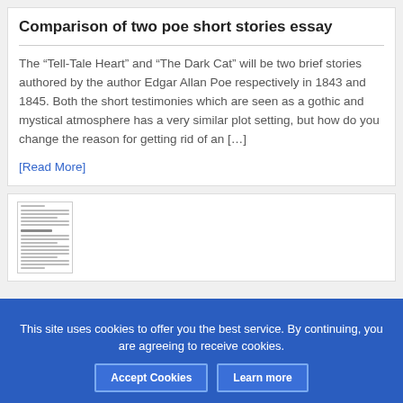Comparison of two poe short stories essay
The “Tell-Tale Heart” and “The Dark Cat” will be two brief stories authored by the author Edgar Allan Poe respectively in 1843 and 1845. Both the short testimonies which are seen as a gothic and mystical atmosphere has a very similar plot setting, but how do you change the reason for getting rid of an […]
[Read More]
[Figure (screenshot): Thumbnail of a text document page with multiple lines of small text]
This site uses cookies to offer you the best service. By continuing, you are agreeing to receive cookies.